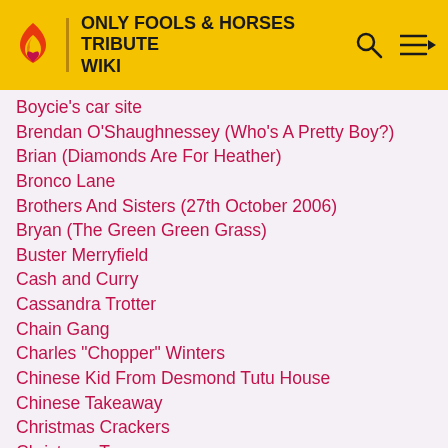ONLY FOOLS & HORSES TRIBUTE WIKI
Boycie's car site
Brendan O'Shaughnessey (Who's A Pretty Boy?)
Brian (Diamonds Are For Heather)
Bronco Lane
Brothers And Sisters (27th October 2006)
Bryan (The Green Green Grass)
Buster Merryfield
Cash and Curry
Cassandra Trotter
Chain Gang
Charles "Chopper" Winters
Chinese Kid From Desmond Tutu House
Chinese Takeaway
Christmas Crackers
Christmas Trees
Clara Rooney
Clarence Tulser
Clayton Cooper
Comedian
Comic Relief Special
Continuity Errors
Corrine (Who's A Pretty Boy)